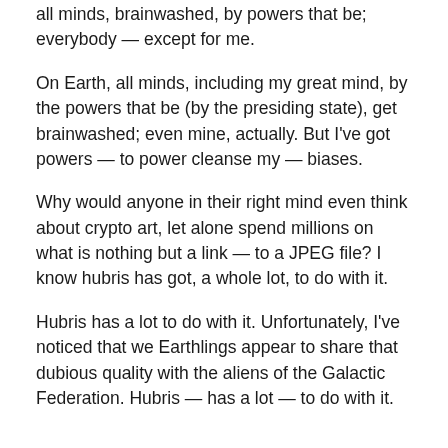all minds, brainwashed, by powers that be; everybody — except for me.
On Earth, all minds, including my great mind, by the powers that be (by the presiding state), get brainwashed; even mine, actually. But I've got powers — to power cleanse my — biases.
Why would anyone in their right mind even think about crypto art, let alone spend millions on what is nothing but a link — to a JPEG file? I know hubris has got, a whole lot, to do with it.
Hubris has a lot to do with it. Unfortunately, I've noticed that we Earthlings appear to share that dubious quality with the aliens of the Galactic Federation. Hubris — has a lot — to do with it.